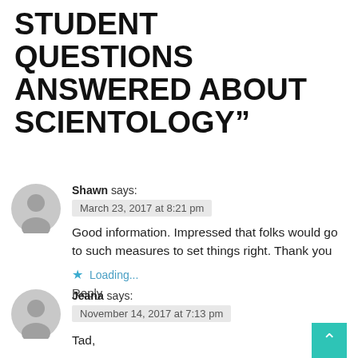STUDENT QUESTIONS ANSWERED ABOUT SCIENTOLOGY”
Shawn says:
March 23, 2017 at 8:21 pm
Good information. Impressed that folks would go to such measures to set things right. Thank you
★ Loading...
Reply
Jeana says:
November 14, 2017 at 7:13 pm
Tad,